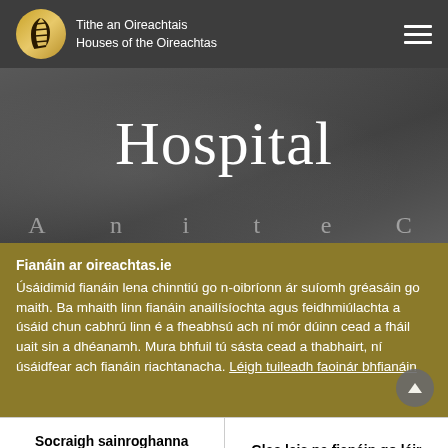Tithe an Oireachtais Houses of the Oireachtas
Hospital
Fianáin ar oireachtas.ie
Úsáidimid fianáin lena chinntiú go n-oibríonn ár suíomh gréasáin go maith. Ba mhaith linn fianáin anailísíochta agus feidhmiúlachta a úsáid chun cabhrú linn é a fheabhsú ach ní mór dúinn cead a fháil uait sin a dhéanamh. Mura bhfuil tú sásta cead a thabhairt, ní úsáidfear ach fianáin riachtanacha. Léigh tuileadh faoinár bhfianáin
Socraigh sainroghanna fianán
Glac leis na fianáin go léir